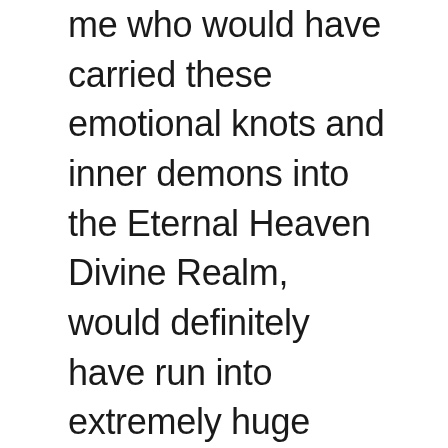me who would have carried these emotional knots and inner demons into the Eternal Heaven Divine Realm, would definitely have run into extremely huge impediments along my path of cultivation. Master also told me that Brother Yun is my great benefactor, that you are also the great benefactor of our Flame God Realm, and that no amount of recompense would ever clear